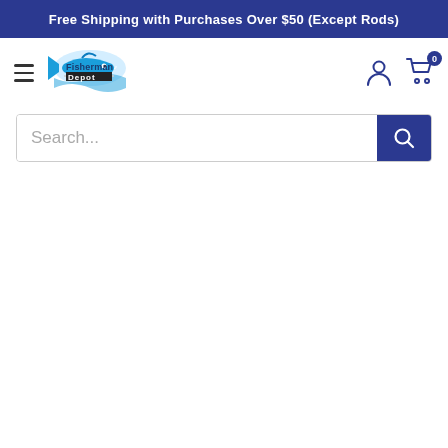Free Shipping with Purchases Over $50 (Except Rods)
[Figure (logo): Fisherman Depot logo — stylized fish shape with blue water wave and text 'Fisherman Depot']
Search...